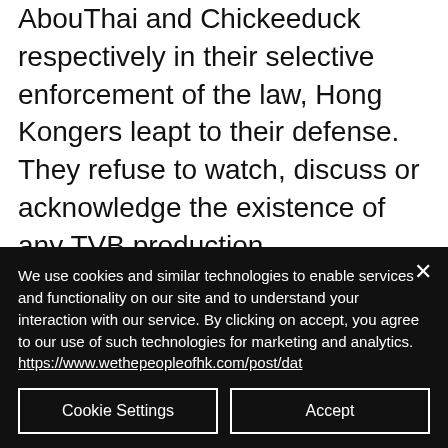AbouThai and Chickeeduck respectively in their selective enforcement of the law, Hong Kongers leapt to their defense. They refuse to watch, discuss or acknowledge the existence of any TVB production.
Havel's second rule is to “live in truth”. This means facing the absurdities of a totalitarian
We use cookies and similar technologies to enable services and functionality on our site and to understand your interaction with our service. By clicking on accept, you agree to our use of such technologies for marketing and analytics. https://www.wethepeopleofhk.com/post/dat